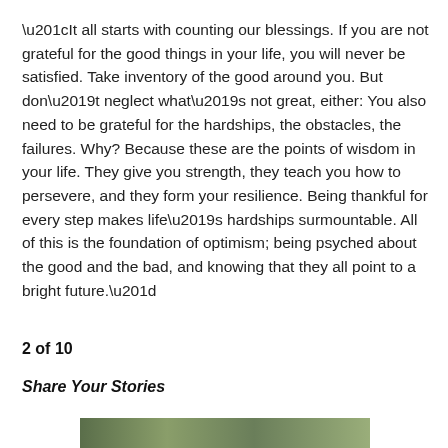“It all starts with counting our blessings. If you are not grateful for the good things in your life, you will never be satisfied. Take inventory of the good around you. But don’t neglect what’s not great, either: You also need to be grateful for the hardships, the obstacles, the failures. Why? Because these are the points of wisdom in your life. They give you strength, they teach you how to persevere, and they form your resilience. Being thankful for every step makes life’s hardships surmountable. All of this is the foundation of optimism; being psyched about the good and the bad, and knowing that they all point to a bright future.”
2 of 10
Share Your Stories
[Figure (photo): Partial photo strip visible at bottom of page]